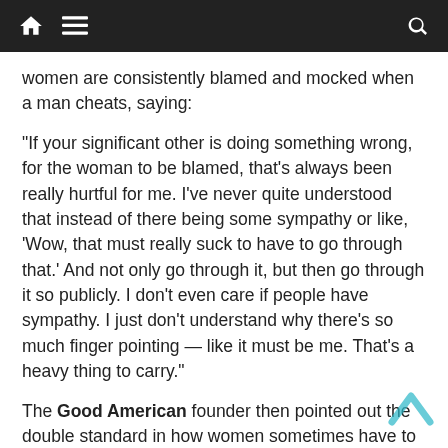Navigation bar with home, menu, and search icons
women are consistently blamed and mocked when a man cheats, saying:
“If your significant other is doing something wrong, for the woman to be blamed, that’s always been really hurtful for me. I’ve never quite understood that instead of there being some sympathy or like, ‘Wow, that must really suck to have to go through that.’ And not only go through it, but then go through it so publicly. I don’t even care if people have sympathy. I just don’t understand why there’s so much finger pointing — like it must be me. That’s a heavy thing to carry.”
The Good American founder then pointed out the double standard in how women sometimes have to deal with a ton of negativity from others while men are often “celebrated” for their cheating ways: